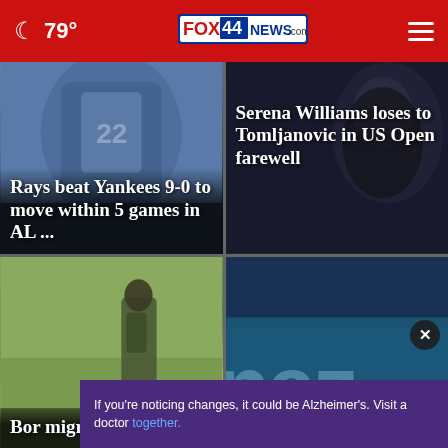79° FOX 44 NEWS.com
[Figure (screenshot): News card: Rays beat Yankees 9-0 to move within 5 games in AL ... with baseball players photo background]
[Figure (screenshot): News card: Serena Williams loses to Tomljanovic in US Open farewell with Serena Williams photo background]
[Figure (screenshot): News card: Border migrants found ... with soldier in camo photo background]
[Figure (screenshot): News card: Amazon's $3.9B with teal background and large 'naz' text visible]
If you're noticing changes, it could be Alzheimer's. Visit a doctor together.